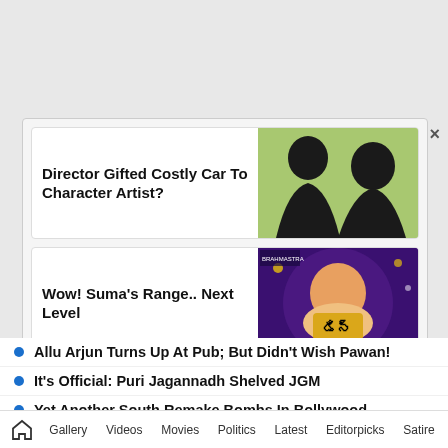[Figure (screenshot): Card with silhouetted figures - Director Gifted Costly Car To Character Artist?]
Director Gifted Costly Car To Character Artist?
[Figure (screenshot): Card with TV show image - Wow! Suma's Range.. Next Level]
Wow! Suma's Range.. Next Level
Allu Arjun Turns Up At Pub; But Didn't Wish Pawan!
It's Official: Puri Jagannadh Shelved JGM
Yet Another South Remake Bombs In Bollywood
Ram Charan Looks Like A Hollywood Actor
Gallery  Videos  Movies  Politics  Latest  Editorpicks  Satire